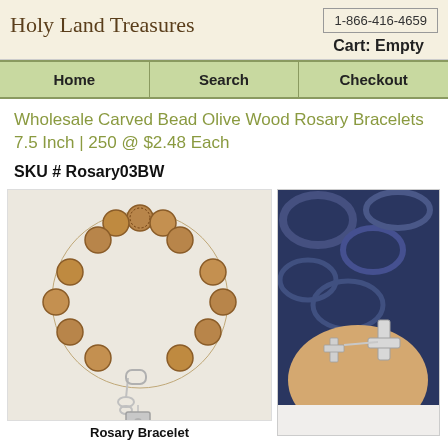Holy Land Treasures
1-866-416-4659
Cart: Empty
Home | Search | Checkout
Wholesale Carved Bead Olive Wood Rosary Bracelets 7.5 Inch | 250 @ $2.48 Each
SKU # Rosary03BW
[Figure (photo): Photo of an olive wood rosary bracelet with carved beads and silver cross pendant, laid flat on white background. Below it reads 'Rosary Bracelet'.]
[Figure (photo): Close-up photo of a person's wrist wearing the rosary bracelet, showing a silver cross charm against a dark blue patterned fabric background.]